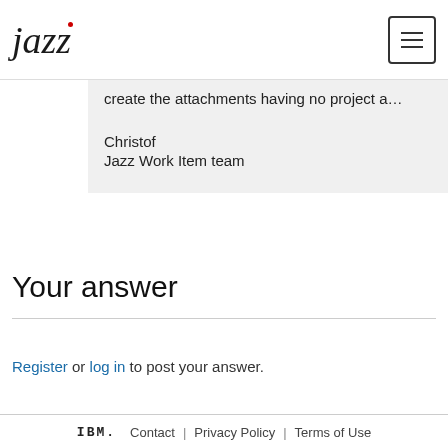jazz [logo] | [menu button]
create the attachments having no project a…
Christof
Jazz Work Item team
Your answer
Register or log in to post your answer.
IBM. Contact | Privacy Policy | Terms of Use